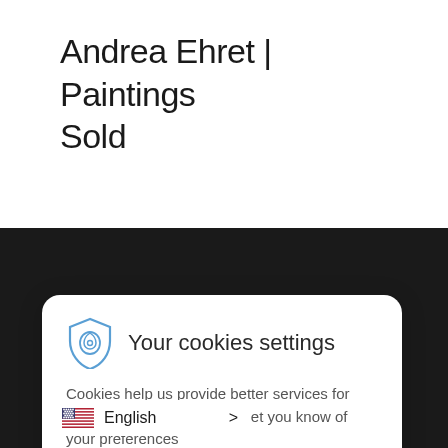Andrea Ehret | Paintings Sold
FOLLOW US
[Figure (illustration): Social media icons: Instagram, LinkedIn, Pinterest, Facebook in white outlined circles on dark background]
FOR CLIENTS
Purchase Art
[Figure (screenshot): Cookie consent modal with fingerprint/shield icon, title 'Your cookies settings', body text, and Accept/Settings/Decline buttons]
Your cookies settings
Cookies help us provide better services for you. We will notify you and let you know of your preferences
Accept
Settings
Decline
English